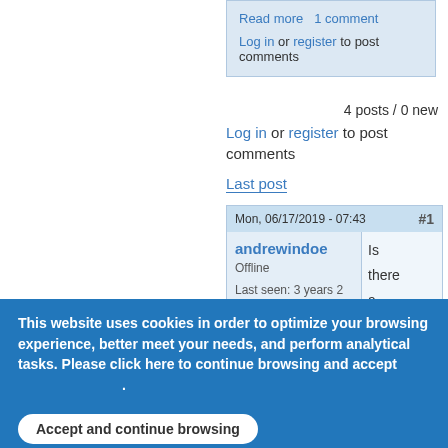Read more   1 comment
Log in or register to post comments
4 posts / 0 new
Log in or register to post comments
Last post
| Mon, 06/17/2019 - 07:43 | #1 |
| --- | --- |
| andrewindoe
Offline
Last seen: 3 years 2 months ago
Joined: 03/26/2019
Posts: 4 | Is there a way to speci |
This website uses cookies in order to optimize your browsing experience, better meet your needs, and perform analytical tasks. Please click here to continue browsing and accept [link] .
Accept and continue browsing